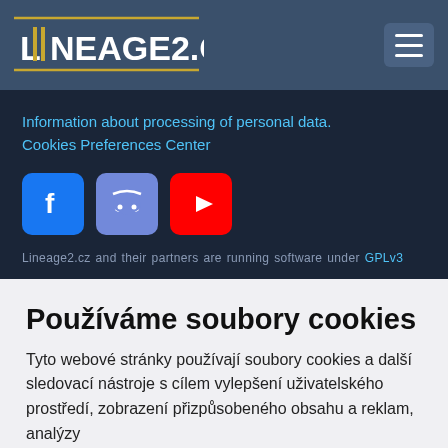LINEAGE2.CZ
Information about processing of personal data.
Cookies Preferences Center
[Figure (logo): Facebook, Discord, and YouTube social media icons]
Lineage2.cz and their partners are running software under GPLv3
Používáme soubory cookies
Tyto webové stránky používají soubory cookies a další sledovací nástroje s cílem vylepšení uživatelského prostředí, zobrazení přizpůsobeného obsahu a reklam, analýzy